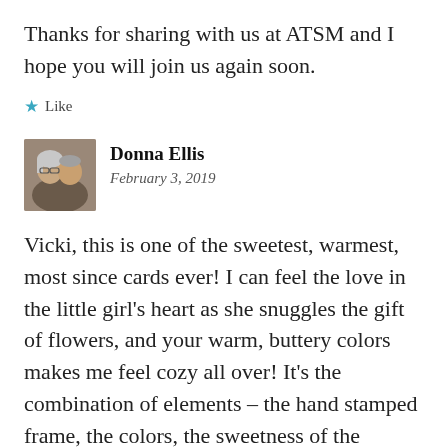Thanks for sharing with us at ATSM and I hope you will join us again soon.
★ Like
Donna Ellis
February 3, 2019
Vicki, this is one of the sweetest, warmest, most since cards ever! I can feel the love in the little girl's heart as she snuggles the gift of flowers, and your warm, buttery colors makes me feel cozy all over! It's the combination of elements – the hand stamped frame, the colors, the sweetness of the image, and that somehow continues at the top done